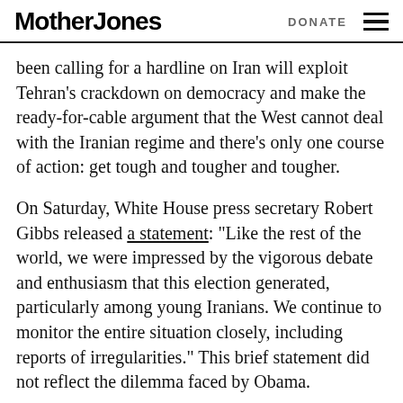Mother Jones | DONATE
been calling for a hardline on Iran will exploit Tehran’s crackdown on democracy and make the ready-for-cable argument that the West cannot deal with the Iranian regime and there’s only one course of action: get tough and tougher and tougher.
On Saturday, White House press secretary Robert Gibbs released a statement: “Like the rest of the world, we were impressed by the vigorous debate and enthusiasm that this election generated, particularly among young Iranians. We continue to monitor the entire situation closely, including reports of irregularities.” This brief statement did not reflect the dilemma faced by Obama.